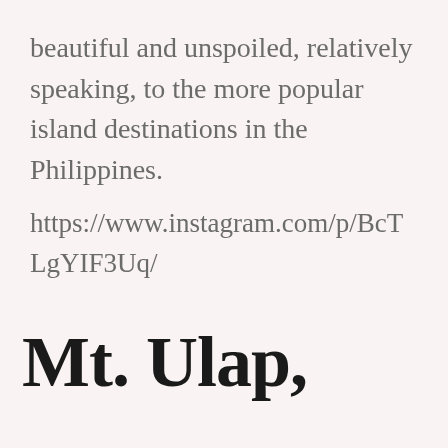beautiful and unspoiled, relatively speaking, to the more popular island destinations in the Philippines.
https://www.instagram.com/p/BcTLgYIF3Uq/
Mt. Ulap,